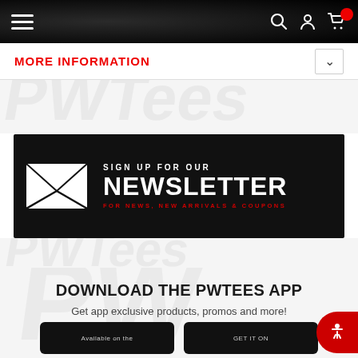[Figure (screenshot): Website navigation bar with hamburger menu, search icon, user icon, and shopping cart with red badge on dark textured background]
MORE INFORMATION
[Figure (infographic): Newsletter sign-up banner with envelope icon, text 'SIGN UP FOR OUR NEWSLETTER FOR NEWS, NEW ARRIVALS & COUPONS' on dark background]
DOWNLOAD THE PWTEES APP
Get app exclusive products, promos and more!
[Figure (screenshot): App store badges showing 'Available on the' (Apple App Store) and 'GET IT ON' (Google Play)]